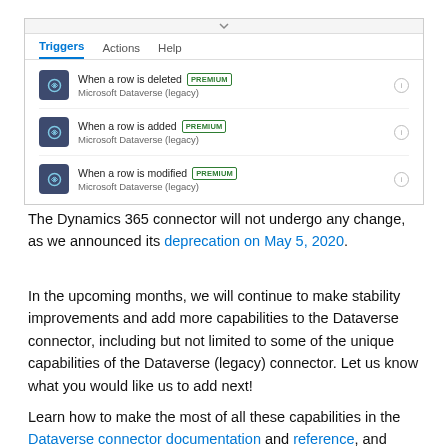[Figure (screenshot): Screenshot of a Microsoft Power Automate connector UI showing Triggers tab active with three triggers listed: 'When a row is deleted PREMIUM - Microsoft Dataverse (legacy)', 'When a row is added PREMIUM - Microsoft Dataverse (legacy)', 'When a row is modified PREMIUM - Microsoft Dataverse (legacy)'. Each trigger has a navy icon, a PREMIUM green badge, and an info circle on the right.]
The Dynamics 365 connector will not undergo any change, as we announced its deprecation on May 5, 2020.
In the upcoming months, we will continue to make stability improvements and add more capabilities to the Dataverse connector, including but not limited to some of the unique capabilities of the Dataverse (legacy) connector. Let us know what you would like us to add next!
Learn how to make the most of all these capabilities in the Dataverse connector documentation and reference, and share